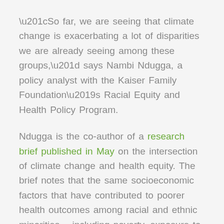“So far, we are seeing that climate change is exacerbating a lot of disparities we are already seeing among these groups,” says Nambi Ndugga, a policy analyst with the Kaiser Family Foundation’s Racial Equity and Health Policy Program.
Ndugga is the co-author of a research brief published in May on the intersection of climate change and health equity. The brief notes that the same socioeconomic factors that have contributed to poorer health outcomes among racial and ethnic minorities – including poverty, exposure to environmental hazards and less access to health care – also affect their